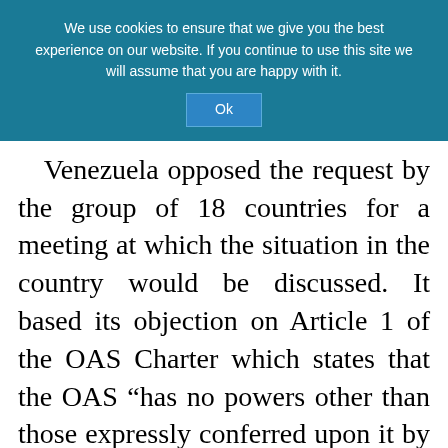We use cookies to ensure that we give you the best experience on our website. If you continue to use this site we will assume that you are happy with it.
Venezuela opposed the request by the group of 18 countries for a meeting at which the situation in the country would be discussed. It based its objection on Article 1 of the OAS Charter which states that the OAS “has no powers other than those expressly conferred upon it by this Charter, none of whose provisions authorizes it to intervene in matters that are within the internal jurisdiction of the Member States.â☒☒  However, the Permanent